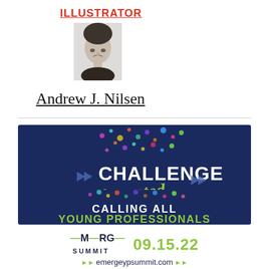ILLUSTRATOR
[Figure (photo): Black and white upside-down portrait photo of a person]
Andrew J. Nilsen
[Figure (infographic): Dark navy blue banner for Emerge Summit reading: CHALLENGE Accepted CALLING ALL YOUNG PROFESSIONALS]
=MERGE= SUMMIT  09.15.22  emergeypsummit.com